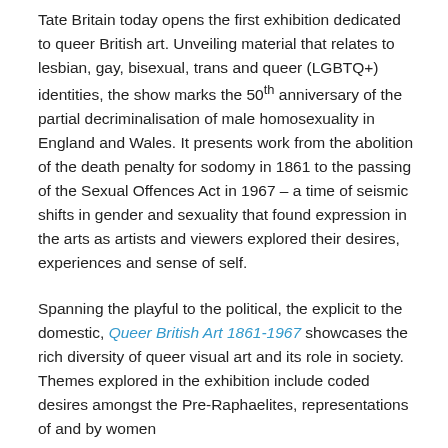Tate Britain today opens the first exhibition dedicated to queer British art. Unveiling material that relates to lesbian, gay, bisexual, trans and queer (LGBTQ+) identities, the show marks the 50th anniversary of the partial decriminalisation of male homosexuality in England and Wales. It presents work from the abolition of the death penalty for sodomy in 1861 to the passing of the Sexual Offences Act in 1967 – a time of seismic shifts in gender and sexuality that found expression in the arts as artists and viewers explored their desires, experiences and sense of self.
Spanning the playful to the political, the explicit to the domestic, Queer British Art 1861-1967 showcases the rich diversity of queer visual art and its role in society. Themes explored in the exhibition include coded desires amongst the Pre-Raphaelites, representations of and by women